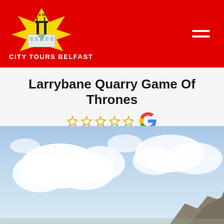CITY TOURS BELFAST
Larrybane Quarry Game Of Thrones
[Figure (photo): Sky with clouds and rocky terrain at bottom right, representing Larrybane Quarry filming location for Game of Thrones]